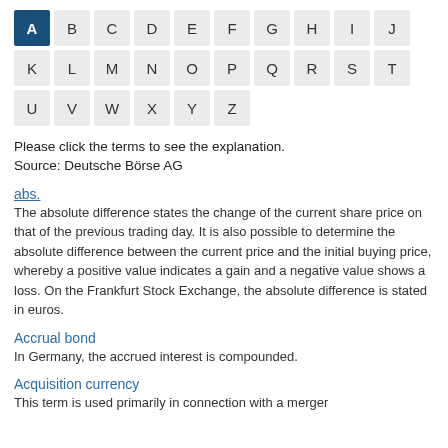[Figure (other): Alphabetical navigation bar with letters A-Z arranged in three rows. A is highlighted in dark blue, the rest in light grey.]
Please click the terms to see the explanation.
Source: Deutsche Börse AG
abs.
The absolute difference states the change of the current share price on that of the previous trading day. It is also possible to determine the absolute difference between the current price and the initial buying price, whereby a positive value indicates a gain and a negative value shows a loss. On the Frankfurt Stock Exchange, the absolute difference is stated in euros.
Accrual bond
In Germany, the accrued interest is compounded.
Acquisition currency
This term is used primarily in connection with a merger...